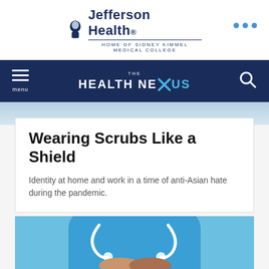[Figure (logo): Jefferson Health logo with tagline 'Home of Sidney Kimmel Medical College']
THE HEALTH NEXUS
[Figure (photo): Blurred photo of person in healthcare setting visible at top strip]
Wearing Scrubs Like a Shield
Identity at home and work in a time of anti-Asian hate during the pandemic.
[Figure (photo): Close-up photo of a healthcare worker in blue scrubs with stethoscope, hands folded]